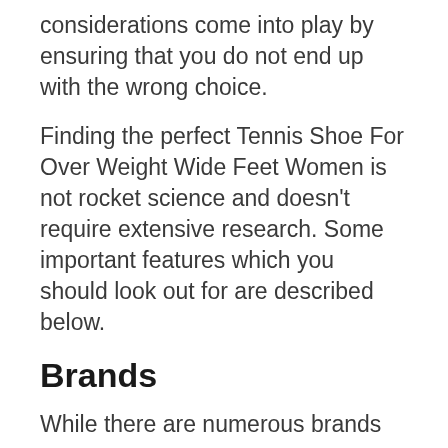considerations come into play by ensuring that you do not end up with the wrong choice.
Finding the perfect Tennis Shoe For Over Weight Wide Feet Women is not rocket science and doesn’t require extensive research. Some important features which you should look out for are described below.
Brands
While there are numerous brands on the market that to their…